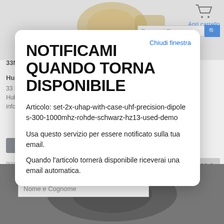[Figure (screenshot): Product page background showing an RF adapter connector product listing with cart button, search bar, product title, description, notify and scheda buttons, availability info, price box, and a nome e cognome input field at the bottom.]
NOTIFICAMI QUANDO TORNA DISPONIBILE
Articolo: set-2x-uhap-with-case-uhf-precision-dipoles-300-1000mhz-rohde-schwarz-hz13-used-demo
Usa questo servizio per essere notificato sulla tua email.
Quando l'articolo tornerà disponibile riceverai una email automatica.